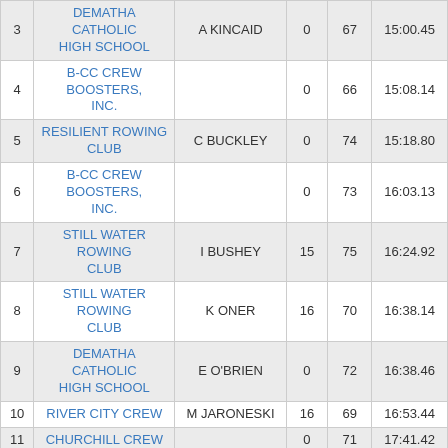| # | Team | Name | Age | Lane/Bow | Raw Time |
| --- | --- | --- | --- | --- | --- |
| 3 | DEMATHA CATHOLIC HIGH SCHOOL | A KINCAID | 0 | 67 | 15:00.45 |
| 4 | B-CC CREW BOOSTERS, INC. |  | 0 | 66 | 15:08.14 |
| 5 | RESILIENT ROWING CLUB | C BUCKLEY | 0 | 74 | 15:18.80 |
| 6 | B-CC CREW BOOSTERS, INC. |  | 0 | 73 | 16:03.13 |
| 7 | STILL WATER ROWING CLUB | I BUSHEY | 15 | 75 | 16:24.92 |
| 8 | STILL WATER ROWING CLUB | K ONER | 16 | 70 | 16:38.14 |
| 9 | DEMATHA CATHOLIC HIGH SCHOOL | E O'BRIEN | 0 | 72 | 16:38.46 |
| 10 | RIVER CITY CREW | M JARONESKI | 16 | 69 | 16:53.44 |
| 11 | CHURCHILL CREW |  | 0 | 71 | 17:41.42 |
03E. MEN'S MASTER EIGHT (40-49) - 12:00PM - FINAL
| # | Team | Name | Age | Lane/Bow | Raw Time |
| --- | --- | --- | --- | --- | --- |
| 1 | CAPITAL ROWING CLUB | S MCKAY | 44 | 76 | 14:44.16 |
| 2 | CAPITAL ROWING CLUB | C PM | 34 | 77 | 15:46.96 |
03F. MEN'S MASTER ...